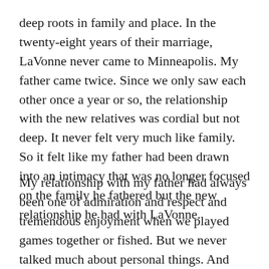deep roots in family and place. In the twenty-eight years of their marriage, LaVonne never came to Minneapolis. My father came twice. Since we only saw each other once a year or so, the relationship with the new relatives was cordial but not deep. It never felt very much like family. So it felt like my father had been drawn into an intimacy that was no longer focused on the family he fathered but the new relationship he had with LaVonne.
My relationship with my father had always been one of admiration and respect and tremendous enjoyment when we played games together or fished. But we never talked much about personal things. And with the death of my mother, and the